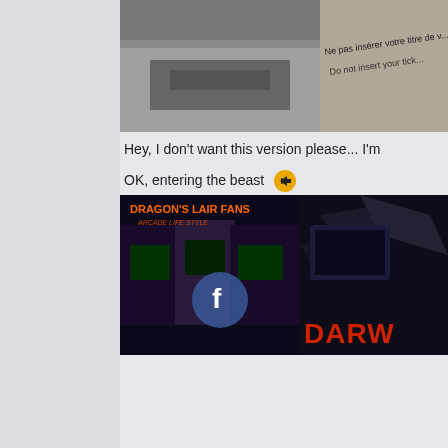[Figure (photo): Partial photo showing a machine or kiosk with text 'Ne pas insérer votre titre de v...' and 'Do not insert your tick...' visible]
Hey, I don't want this version please... I'm
OK, entering the beast  [arrow icon]
'Reading time' during the crossing (less th
...and Welcome to UK ... mind the gap ...
The world famous M20 ... the world famo... fact... but I assure you it's not the same pi
« Last Edit: December 16, 2008, 08:50:09 PM by
[Figure (photo): Dragon's Lair Fans Arcade Life Style banner with Facebook logo and arcade machines]
[Figure (photo): Dark image with DARW... text visible and geometric shapes]